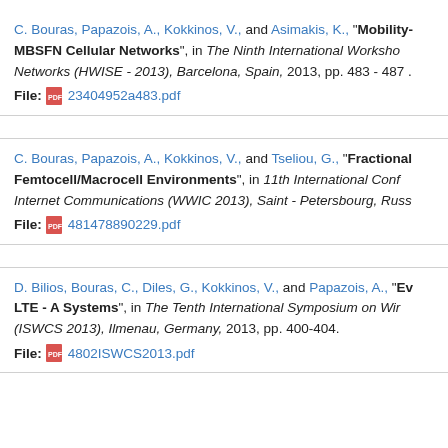C. Bouras, Papazois, A., Kokkinos, V., and Asimakis, K., "Mobility-... MBSFN Cellular Networks", in The Ninth International Workshop on Networks (HWISE - 2013), Barcelona, Spain, 2013, pp. 483 - 487 . File: 23404952a483.pdf
C. Bouras, Papazois, A., Kokkinos, V., and Tseliou, G., "Fractional... Femtocell/Macrocell Environments", in 11th International Conf... Internet Communications (WWIC 2013), Saint - Petersbourg, Russ... File: 481478890229.pdf
D. Bilios, Bouras, C., Diles, G., Kokkinos, V., and Papazois, A., "Ev... LTE - A Systems", in The Tenth International Symposium on Wir... (ISWCS 2013), Ilmenau, Germany, 2013, pp. 400-404. File: 4802ISWCS2013.pdf